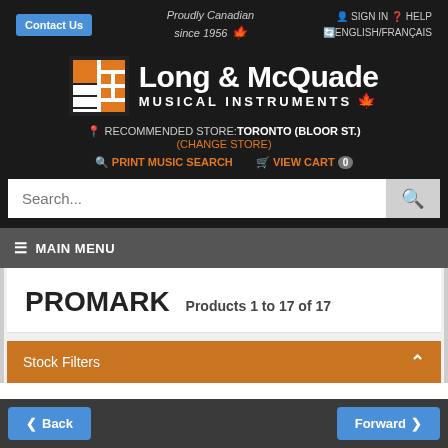Contact Us | Proudly Canadian since 1956 | SIGN IN | HELP | ENGLISH/FRANÇAIS
[Figure (logo): Long & McQuade Musical Instruments logo with orange grid icon]
RECOMMENDED STORE: TORONTO (BLOOR ST.)
(CHANGE STORE)
PRINT MUSIC SEARCH  VIEW CART 0
Search...
MAIN MENU
PROMARK  Products 1 to 17 of 17
Stock Filters
Back  Forward